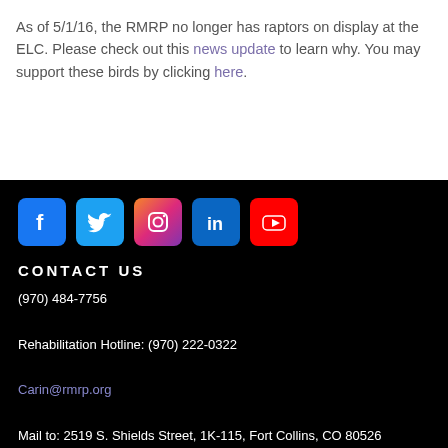As of 5/1/16, the RMRP no longer has raptors on display at the ELC. Please check out this news update to learn why. You may support these birds by clicking here.
[Figure (infographic): Social media icon buttons: Facebook (blue), Twitter (blue), Instagram (gradient pink/purple), LinkedIn (blue), YouTube (red)]
CONTACT US
(970) 484-7756
Rehabilitation Hotline: (970) 222-0322
Carin@rmrp.org
Mail to: 2519 S. Shields Street, 1K-115, Fort Collins, CO 80526